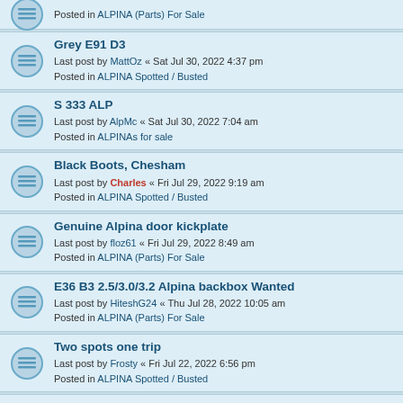Posted in ALPINA (Parts) For Sale
Grey E91 D3
Last post by MattOz « Sat Jul 30, 2022 4:37 pm
Posted in ALPINA Spotted / Busted
S 333 ALP
Last post by AlpMc « Sat Jul 30, 2022 7:04 am
Posted in ALPINAs for sale
Black Boots, Chesham
Last post by Charles « Fri Jul 29, 2022 9:19 am
Posted in ALPINA Spotted / Busted
Genuine Alpina door kickplate
Last post by floz61 « Fri Jul 29, 2022 8:49 am
Posted in ALPINA (Parts) For Sale
E36 B3 2.5/3.0/3.2 Alpina backbox Wanted
Last post by HiteshG24 « Thu Jul 28, 2022 10:05 am
Posted in ALPINA (Parts) For Sale
Two spots one trip
Last post by Frosty « Fri Jul 22, 2022 6:56 pm
Posted in ALPINA Spotted / Busted
e90 D3 BT oil leak?
Last post by sean7997 « Mon Jul 18, 2022 8:14 pm
Posted in ALPINA - Car Advice / Information
Shelsley Walsh
Last post by Bri-E « Sun Jul 17, 2022 2:05 pm
Posted in ALPINA Spotted / Busted